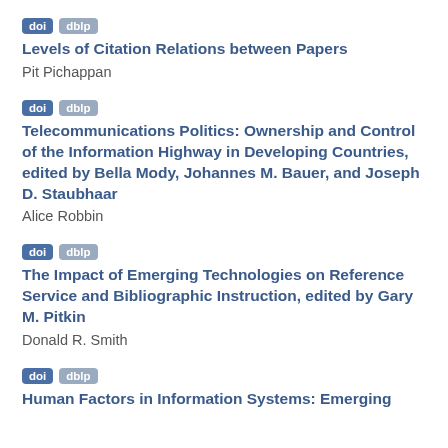doi dblp
Levels of Citation Relations between Papers
Pit Pichappan
doi dblp
Telecommunications Politics: Ownership and Control of the Information Highway in Developing Countries, edited by Bella Mody, Johannes M. Bauer, and Joseph D. Staubhaar
Alice Robbin
doi dblp
The Impact of Emerging Technologies on Reference Service and Bibliographic Instruction, edited by Gary M. Pitkin
Donald R. Smith
doi dblp
Human Factors in Information Systems: Emerging